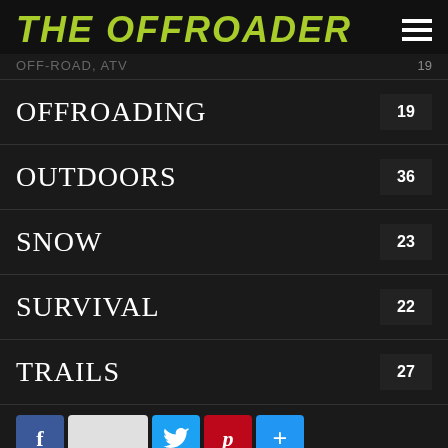THE OFFROADER
OFF-ROAD, ATV  19
OFFROADING  19
OUTDOORS  36
SNOW  23
SURVIVAL  22
TRAILS  27
WATER  15